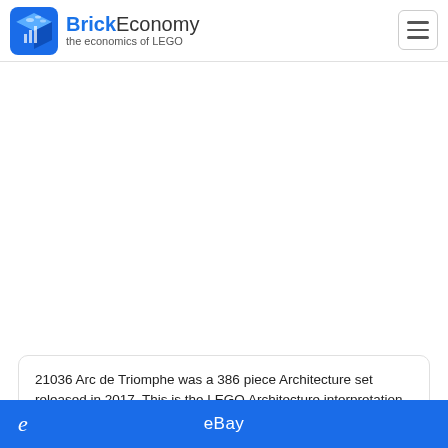BrickEconomy – the economics of LEGO
21036 Arc de Triomphe was a 386 piece Architecture set released in 2017. This is the LEGO Architecture interpretation
[Figure (logo): eBay banner button at bottom of page]